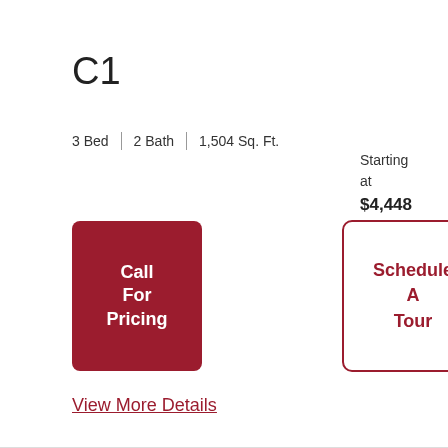C1
3 Bed  |  2 Bath  |  1,504 Sq. Ft.
Starting at $4,448
Call For Pricing
Schedule A Tour
View More Details